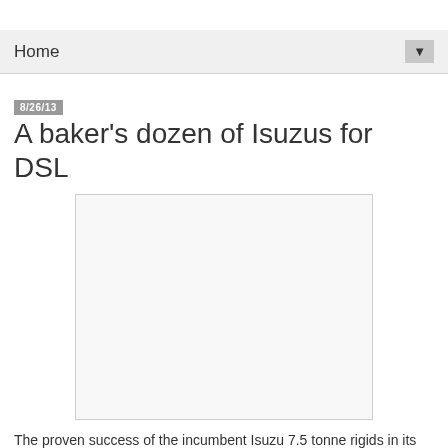Home
8/26/13
A baker's dozen of Isuzus for DSL
[Figure (photo): Photograph placeholder — white/light grey rectangle with border, showing Isuzu trucks for DSL]
The proven success of the incumbent Isuzu 7.5 tonne rigids in its fleet, was a key factor behind the decision made by Deborah Services Ltd (DSL) to specify the Isuzu marque once again, when it came to replacing the majority of its 7.5